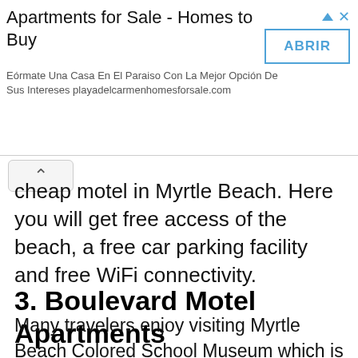[Figure (other): Advertisement banner: 'Apartments for Sale - Homes to Buy' with subtitle 'Eórmate Una Casa En El Paraiso Con La Mejor Opción De Sus Intereses playadelcarmenhomesforsale.com' and an ABRIR button]
cheap motel in Myrtle Beach. Here you will get free access of the beach, a free car parking facility and free WiFi connectivity.
3. Boulevard Motel Apartments
Many travelers enjoy visiting Myrtle Beach Colored School Museum which is located 2.8 miles from Boulevard Motel Apartments.